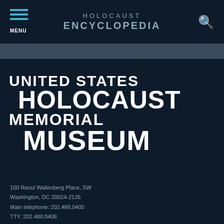HOLOCAUST ENCYCLOPEDIA
UNITED STATES HOLOCAUST MEMORIAL MUSEUM
100 Raoul Wallenberg Place, SW
Washington, DC 20024-2126
Main telephone: 202.488.0400
TTY: 202.488.0406
Get the Latest News
Your e-mail address